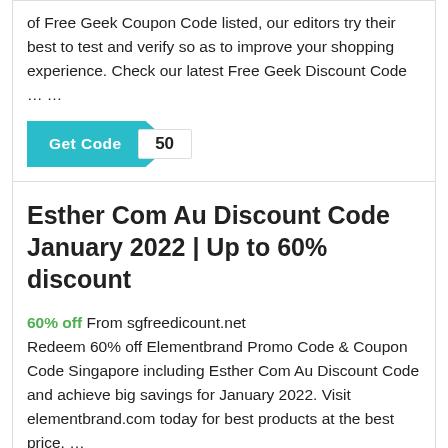of Free Geek Coupon Code listed, our editors try their best to test and verify so as to improve your shopping experience. Check our latest Free Geek Discount Code … …
[Figure (other): Teal 'Get Code' button with arrow shape and '50' badge]
Esther Com Au Discount Code January 2022 | Up to 60% discount
60% off From sgfreedicount.net
Redeem 60% off Elementbrand Promo Code & Coupon Code Singapore including Esther Com Au Discount Code and achieve big savings for January 2022. Visit elementbrand.com today for best products at the best price. …
[Figure (other): Teal 'Get Code' button with arrow shape and '60' badge]